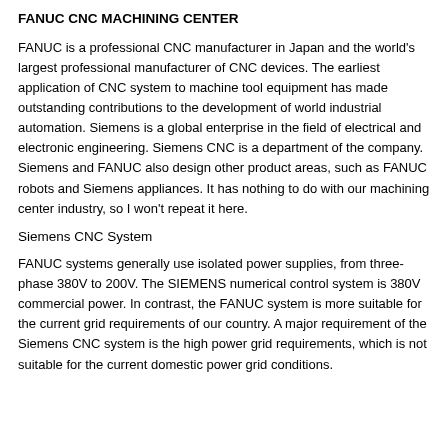FANUC CNC MACHINING CENTER
FANUC is a professional CNC manufacturer in Japan and the world's largest professional manufacturer of CNC devices. The earliest application of CNC system to machine tool equipment has made outstanding contributions to the development of world industrial automation. Siemens is a global enterprise in the field of electrical and electronic engineering. Siemens CNC is a department of the company. Siemens and FANUC also design other product areas, such as FANUC robots and Siemens appliances. It has nothing to do with our machining center industry, so I won't repeat it here.
Siemens CNC System
FANUC systems generally use isolated power supplies, from three-phase 380V to 200V. The SIEMENS numerical control system is 380V commercial power. In contrast, the FANUC system is more suitable for the current grid requirements of our country. A major requirement of the Siemens CNC system is the high power grid requirements, which is not suitable for the current domestic power grid conditions.